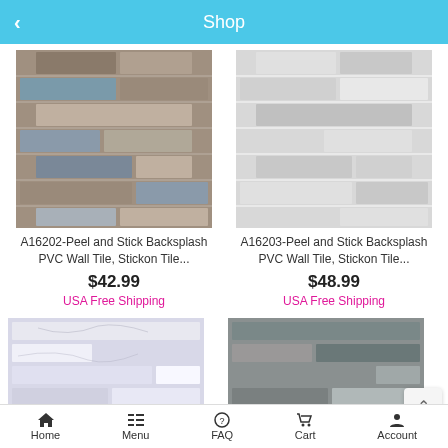Shop
[Figure (photo): Peel and stick backsplash tile in blue-grey wood pattern]
A16202-Peel and Stick Backsplash PVC Wall Tile, Stickon Tile...
$42.99
USA Free Shipping
[Figure (photo): Peel and stick backsplash tile in light grey wood pattern]
A16203-Peel and Stick Backsplash PVC Wall Tile, Stickon Tile...
$48.99
USA Free Shipping
[Figure (photo): Peel and stick backsplash tile in white marble pattern]
[Figure (photo): Peel and stick backsplash tile in dark mixed grey pattern]
Home  Menu  FAQ  Cart  Account